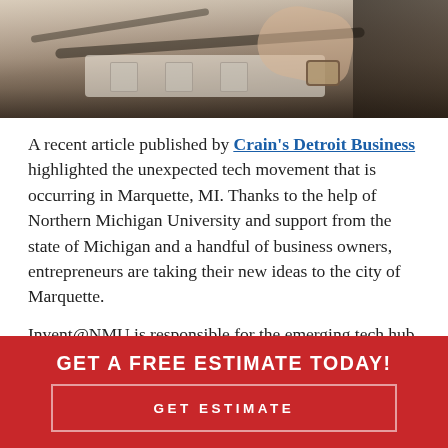[Figure (photo): Close-up photo of hands and a power strip with cables on a desk, person wearing a watch visible]
A recent article published by Crain's Detroit Business highlighted the unexpected tech movement that is occurring in Marquette, MI. Thanks to the help of Northern Michigan University and support from the state of Michigan and a handful of business owners, entrepreneurs are taking their new ideas to the city of Marquette.
Invent@NMU is responsible for the emerging tech hub that is taking place in the city. Invent@NMU is powered by students and led by professors who have the ability and...
GET A FREE ESTIMATE TODAY!
GET ESTIMATE